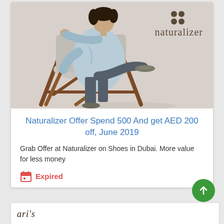[Figure (photo): Naturalizer brand advertisement photo showing a woman in a light blue coat and dark slim pants sitting on a modern wooden chair, wearing flat shoes. Naturalizer logo with four dots above the brand name appears in the top right of the image.]
Naturalizer Offer Spend 500 And get AED 200 off, June 2019
Grab Offer at Naturalizer on Shoes in Dubai. More value for less money
Expired
[Figure (logo): Partial logo visible at bottom of page]